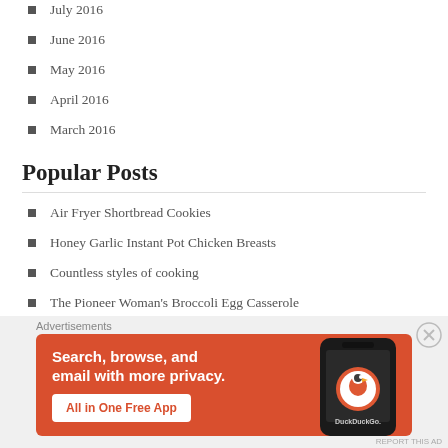July 2016
June 2016
May 2016
April 2016
March 2016
Popular Posts
Air Fryer Shortbread Cookies
Honey Garlic Instant Pot Chicken Breasts
Countless styles of cooking
The Pioneer Woman's Broccoli Egg Casserole
[Figure (screenshot): DuckDuckGo advertisement banner: 'Search, browse, and email with more privacy. All in One Free App' with DuckDuckGo logo on a phone graphic, orange background]